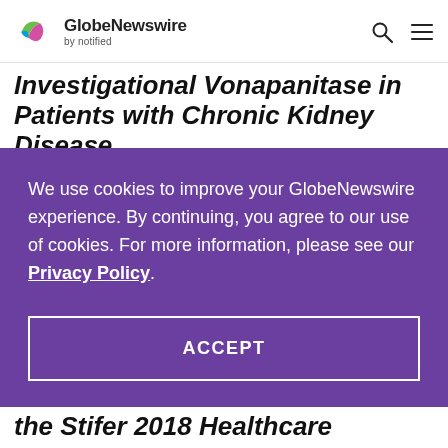GlobeNewswire by notified
Investigational Vonapanitase in Patients with Chronic Kidney Disease
We use cookies to improve your GlobeNewswire experience. By continuing, you agree to our use of cookies. For more information, please see our Privacy Policy.
ACCEPT
the Stifer 2018 Healthcare